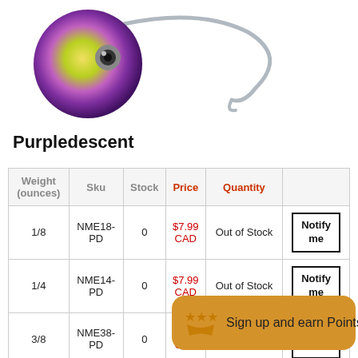[Figure (photo): Colorful fishing jig head with purple/yellow/green swirl paint and a silver hook against white background]
Purpledescent
| Weight (ounces) | Sku | Stock | Price | Quantity |  |
| --- | --- | --- | --- | --- | --- |
| 1/8 | NME18-PD | 0 | $7.99 CAD | Out of Stock | Notify me |
| 1/4 | NME14-PD | 0 | $7.99 CAD | Out of Stock | Notify me |
| 3/8 | NME38-PD | 0 | $7.99 CAD | Out of Stock | Notify me |
Sign up and earn Points